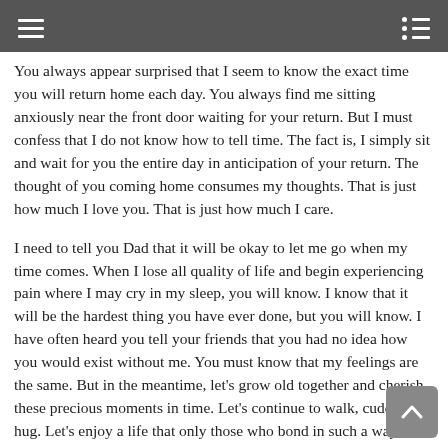me. Just being with you and Mom is all that matters.
You always appear surprised that I seem to know the exact time you will return home each day. You always find me sitting anxiously near the front door waiting for your return. But I must confess that I do not know how to tell time. The fact is, I simply sit and wait for you the entire day in anticipation of your return. The thought of you coming home consumes my thoughts. That is just how much I love you. That is just how much I care.
I need to tell you Dad that it will be okay to let me go when my time comes. When I lose all quality of life and begin experiencing pain where I may cry in my sleep, you will know. I know that it will be the hardest thing you have ever done, but you will know. I have often heard you tell your friends that you had no idea how you would exist without me. You must know that my feelings are the same. But in the meantime, let's grow old together and cherish these precious moments in time. Let's continue to walk, cuddle and hug. Let's enjoy a life that only those who bond in such a way can fully understand. But I want to let you know that when we are separated from one